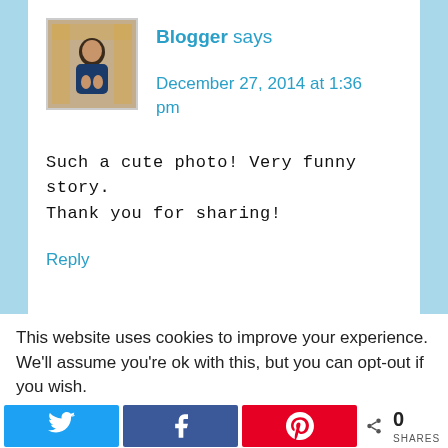[Figure (photo): Profile photo of a blogger, appearing as a small square avatar image showing a person in a decorative interior setting]
Blogger says
December 27, 2014 at 1:36 pm
Such a cute photo! Very funny story. Thank you for sharing!
Reply
This website uses cookies to improve your experience. We'll assume you're ok with this, but you can opt-out if you wish.
[Figure (infographic): Social share bar with Twitter, Facebook, Pinterest buttons and a share count showing 0 SHARES]